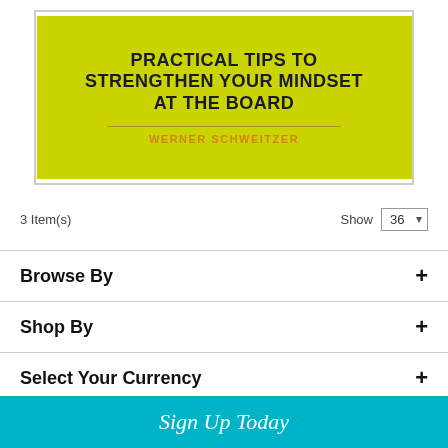[Figure (illustration): Book cover with yellow-green background showing title 'PRACTICAL TIPS TO STRENGTHEN YOUR MINDSET AT THE BOARD' and author 'WERNER SCHWEITZER' in orange text with a dividing line]
3 Item(s)
Show 36
Browse By
Shop By
Select Your Currency
Sign Up Today